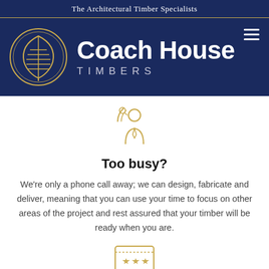The Architectural Timber Specialists
[Figure (logo): Coach House Timbers logo with circular leaf/tree emblem in gold on dark navy background, company name in white bold sans-serif]
[Figure (illustration): Gold outline icon of a person with phone/headset, representing customer service or contact]
Too busy?
We're only a phone call away; we can design, fabricate and deliver, meaning that you can use your time to focus on other areas of the project and rest assured that your timber will be ready when you are.
[Figure (illustration): Gold outline icon of a certificate or award with three stars, representing quality or rating]